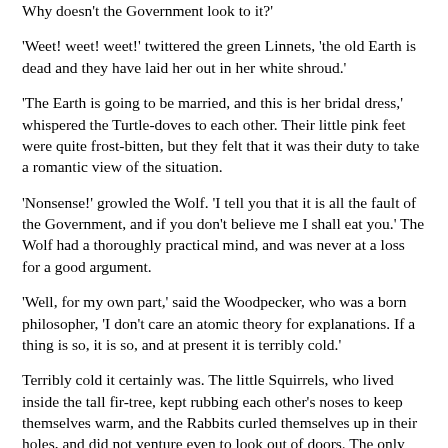Why doesn't the Government look to it?'
'Weet! weet! weet!' twittered the green Linnets, 'the old Earth is dead and they have laid her out in her white shroud.'
'The Earth is going to be married, and this is her bridal dress,' whispered the Turtle-doves to each other.  Their little pink feet were quite frost-bitten, but they felt that it was their duty to take a romantic view of the situation.
'Nonsense!' growled the Wolf.  'I tell you that it is all the fault of the Government, and if you don't believe me I shall eat you.'  The Wolf had a thoroughly practical mind, and was never at a loss for a good argument.
'Well, for my own part,' said the Woodpecker, who was a born philosopher, 'I don't care an atomic theory for explanations.  If a thing is so, it is so, and at present it is terribly cold.'
Terribly cold it certainly was.  The little Squirrels, who lived inside the tall fir-tree, kept rubbing each other's noses to keep themselves warm, and the Rabbits curled themselves up in their holes, and did not venture even to look out of doors.  The only people who seemed to enjoy it were the great horned Owls.  Their feathers were quite stiff with rime, but they did not mind, and they rolled their large yellow eyes, and called out to each other across the